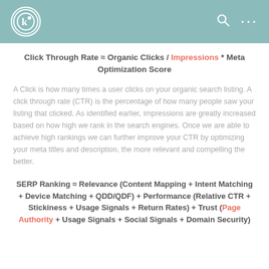Header bar with logo, search, and menu icons
A Click is how many times a user clicks on your organic search listing. A click through rate (CTR) is the percentage of how many people saw your listing that clicked. As identified earlier, impressions are greatly increased based on how high we rank in the search engines. Once we are able to achieve high rankings we can further improve your CTR by optimizing your meta titles and description, the more relevant and compelling the better.